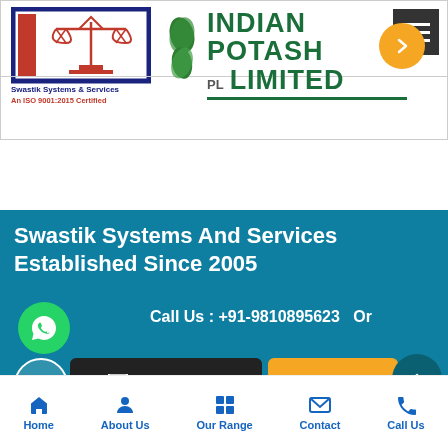[Figure (logo): Swastik Systems & Services logo with scales of justice icon, blue border, red accent]
Swastik Systems & Services
An ISO 9001:2015 Certified
[Figure (logo): Indian Potash Limited (IPL) logo with green leaf icon and teal underline]
Swastik Systems And Services Established Since 2005
Call Us : +91-9810895623   Or
Get A Quote
Get A Qu
Home   About Us   Our Range   Contact   Call Us